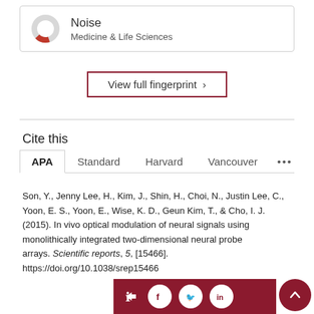[Figure (other): Donut/ring chart icon for Noise – Medicine & Life Sciences fingerprint entry. The ring is mostly grey with a red segment in the upper-right.]
Noise
Medicine & Life Sciences
View full fingerprint ›
Cite this
APA   Standard   Harvard   Vancouver   •••
Son, Y., Jenny Lee, H., Kim, J., Shin, H., Choi, N., Justin Lee, C., Yoon, E. S., Yoon, E., Wise, K. D., Geun Kim, T., & Cho, I. J. (2015). In vivo optical modulation of neural signals using monolithically integrated two-dimensional neural probe arrays. Scientific reports, 5, [15466]. https://doi.org/10.1038/srep15466